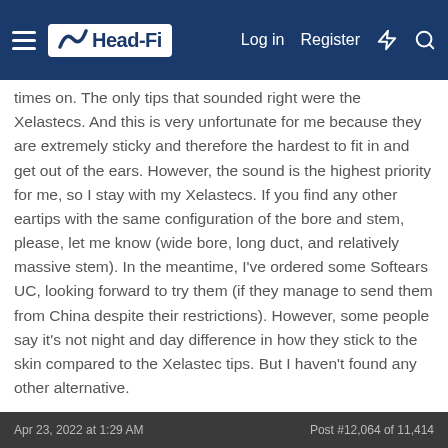Head-Fi | Log in | Register
times on. The only tips that sounded right were the Xelastecs. And this is very unfortunate for me because they are extremely sticky and therefore the hardest to fit in and get out of the ears. However, the sound is the highest priority for me, so I stay with my Xelastecs. If you find any other eartips with the same configuration of the bore and stem, please, let me know (wide bore, long duct, and relatively massive stem). In the meantime, I've ordered some Softears UC, looking forward to try them (if they manage to send them from China despite their restrictions). However, some people say it's not night and day difference in how they stick to the skin compared to the Xelastec tips. But I haven't found any other alternative.
This site uses cookies to help personalise content, tailor your experience and to keep you logged in if you register. By continuing to use this site, you are consenting to our use of cookies.
Apr 23, 2022 at 1:29 AM    Post #12,064 of 11,414